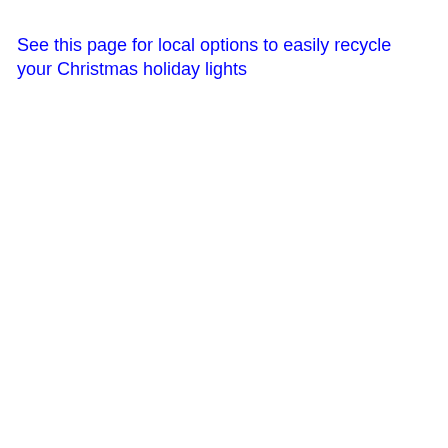See this page for local options to easily recycle your Christmas holiday lights